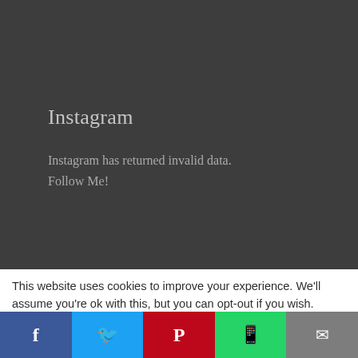Instagram
Instagram has returned invalid data. Follow Me!
Follow me on Twitter
[Figure (screenshot): Twitter widget box showing 'Tweets from @yorkshiredadof4' header with a white rounded rectangle card]
This website uses cookies to improve your experience. We'll assume you're ok with this, but you can opt-out if you wish.
[Figure (infographic): Social media sharing bar with five buttons: Facebook (blue), Twitter (light blue), Pinterest (red), WhatsApp (green), Email (grey)]